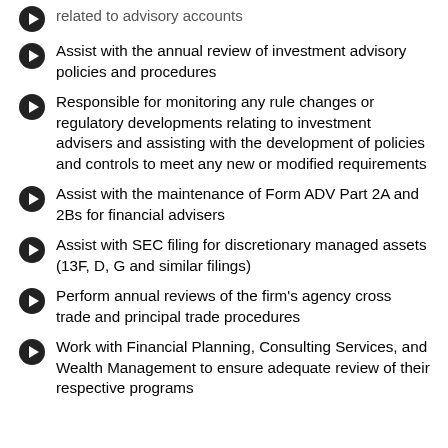Perform regular reviews of sales practice issues related to advisory accounts
Assist with the annual review of investment advisory policies and procedures
Responsible for monitoring any rule changes or regulatory developments relating to investment advisers and assisting with the development of policies and controls to meet any new or modified requirements
Assist with the maintenance of Form ADV Part 2A and 2Bs for financial advisers
Assist with SEC filing for discretionary managed assets (13F, D, G and similar filings)
Perform annual reviews of the firm's agency cross trade and principal trade procedures
Work with Financial Planning, Consulting Services, and Wealth Management to ensure adequate review of their respective programs